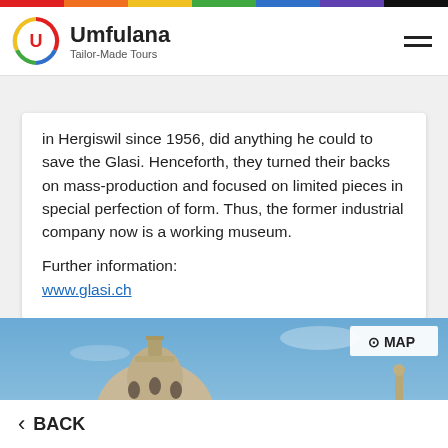[Figure (logo): Umfulana logo with circular U icon and text 'Umfulana Tailor-Made Tours']
in Hergiswil since 1956, did anything he could to save the Glasi. Henceforth, they turned their backs on mass-production and focused on limited pieces in special perfection of form. Thus, the former industrial company now is a working museum.
Further information:
www.glasi.ch
[Figure (photo): Photo of baroque church domes against a blue sky, likely in Rome or Italy]
BACK